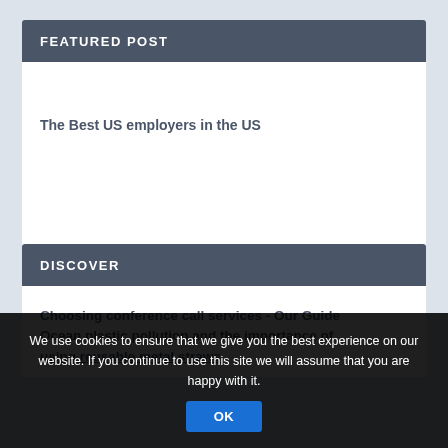FEATURED POST
The Best US employers in the US
DISCOVER
Choosing conference call services - Our Guide
Ocean plastic pollution and the importance of using reusable metal straws
We use cookies to ensure that we give you the best experience on our website. If you continue to use this site we will assume that you are happy with it.